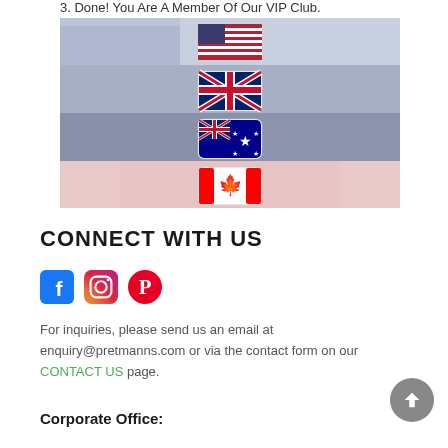3. Done! You Are A Member Of Our VIP Club.
[Figure (illustration): Four horizontal bands each showing a different country flag icon centered: US flag, UK flag, Australian flag, Canadian flag, against a soft composite patriotic background image.]
CONNECT WITH US
[Figure (infographic): Three social media icons in a row: Facebook (blue square with white F), Instagram (camera outline in pink/purple gradient circle), Pinterest (red circle with white P).]
For inquiries, please send us an email at enquiry@pretmanns.com or via the contact form on our CONTACT US page.
Corporate Office: